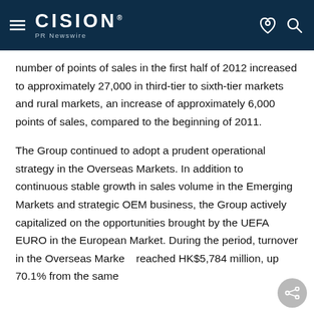CISION PR Newswire
number of points of sales in the first half of 2012 increased to approximately 27,000 in third-tier to sixth-tier markets and rural markets, an increase of approximately 6,000 points of sales, compared to the beginning of 2011.
The Group continued to adopt a prudent operational strategy in the Overseas Markets. In addition to continuous stable growth in sales volume in the Emerging Markets and strategic OEM business, the Group actively capitalized on the opportunities brought by the UEFA EURO in the European Market. During the period, turnover in the Overseas Markets reached HK$5,784 million, up 70.1% from the same